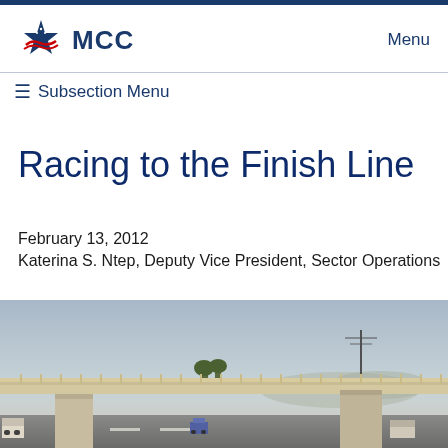MCC — Menu
≡ Subsection Menu
Racing to the Finish Line
February 13, 2012
Katerina S. Ntep, Deputy Vice President, Sector Operations
[Figure (photo): A bridge overpass with concrete pillars spanning a highway, with trucks and vehicles visible below and around the structure, hazy sky in the background.]